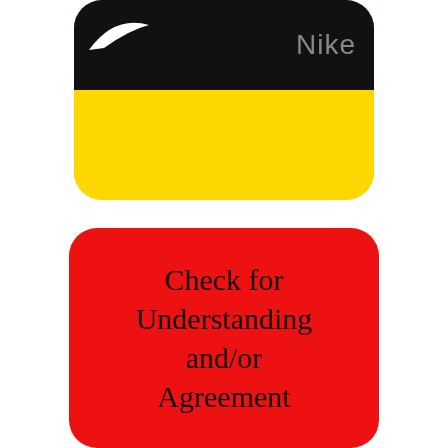[Figure (logo): Nike app icon: yellow rounded rectangle card with black top bar containing white Nike swoosh logo and gray 'Nike' text]
[Figure (infographic): Red rounded rectangle card with large black serif text reading 'Check for Understanding and/or Agreement']